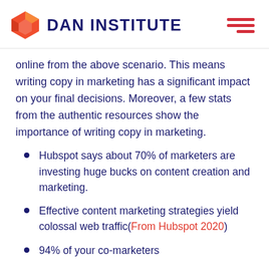DAN INSTITUTE
online from the above scenario. This means writing copy in marketing has a significant impact on your final decisions. Moreover, a few stats from the authentic resources show the importance of writing copy in marketing.
Hubspot says about 70% of marketers are investing huge bucks on content creation and marketing.
Effective content marketing strategies yield colossal web traffic(From Hubspot 2020)
94% of your co-marketers